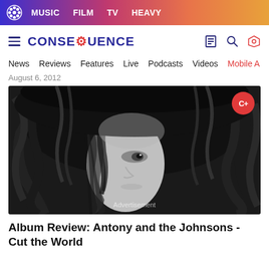MUSIC  FILM  TV  HEAVY
CONSEQUENCE
News  Reviews  Features  Live  Podcasts  Videos  Mobile App
August 6, 2012
[Figure (photo): Black and white close-up portrait of a person with wild, curly dark hair covering part of their face, looking downward. C+ badge in top right corner.]
Album Review: Antony and the Johnsons - Cut the World